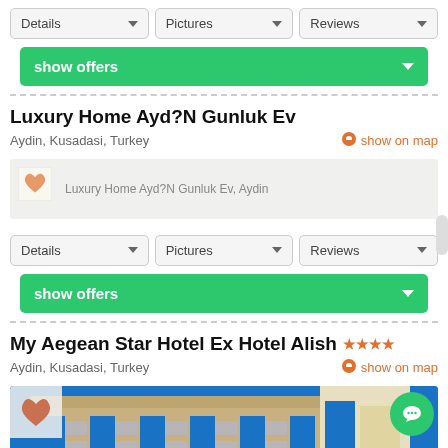[Figure (screenshot): Hotel listing webpage showing two hotel entries with Details/Pictures/Reviews dropdown buttons and Show Offers green buttons. First listing: Luxury Home Ayd?N Gunluk Ev, Aydin, Kusadasi, Turkey. Second listing: My Aegean Star Hotel Ex Hotel Alish (4 stars), Aydin, Kusadasi, Turkey, with hotel building photo.]
Details | Pictures | Reviews
show offers
Luxury Home Ayd?N Gunluk Ev
Aydin, Kusadasi, Turkey
show on map
Luxury Home Ayd?N Gunluk Ev, Aydin
Details | Pictures | Reviews
show offers
My Aegean Star Hotel Ex Hotel Alish ★★★★
Aydin, Kusadasi, Turkey
show on map
[Figure (photo): Hotel building exterior photo — multi-story hotel with blue and tan facade against clear blue sky]